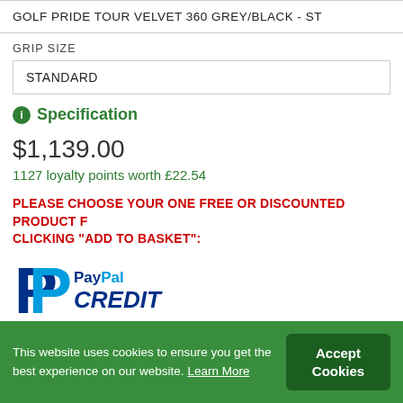GOLF PRIDE TOUR VELVET 360 GREY/BLACK - ST
GRIP SIZE
STANDARD
Specification
$1,139.00
1127 loyalty points worth £22.54
PLEASE CHOOSE YOUR ONE FREE OR DISCOUNTED PRODUCT F CLICKING "ADD TO BASKET":
[Figure (logo): PayPal CREDIT logo with blue P icon and PayPal CREDIT text]
This website uses cookies to ensure you get the best experience on our website. Learn More
Accept Cookies